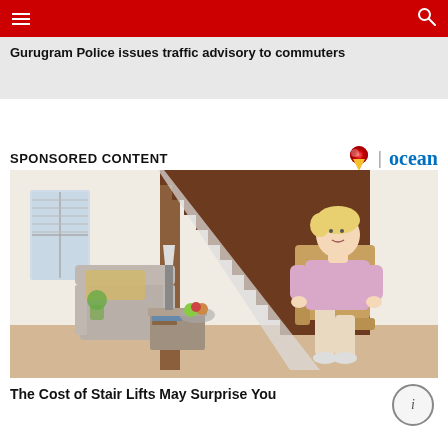Navigation bar with hamburger menu and search icon
Gurugram Police issues traffic advisory to commuters
SPONSORED CONTENT
[Figure (photo): An elderly woman with short blonde hair sits on a stairlift on wooden stairs in a home interior. She wears a pink top and beige pants. In the background is a grey armchair, side table, and lamp.]
The Cost of Stair Lifts May Surprise You